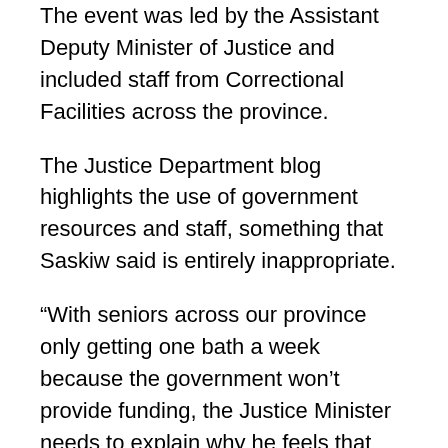The event was led by the Assistant Deputy Minister of Justice and included staff from Correctional Facilities across the province.
The Justice Department blog highlights the use of government resources and staff, something that Saskiw said is entirely inappropriate.
“With seniors across our province only getting one bath a week because the government won’t provide funding, the Justice Minister needs to explain why he feels that furthering the hobbies of people behind bars is a higher priority for his government,” Saskiw said.